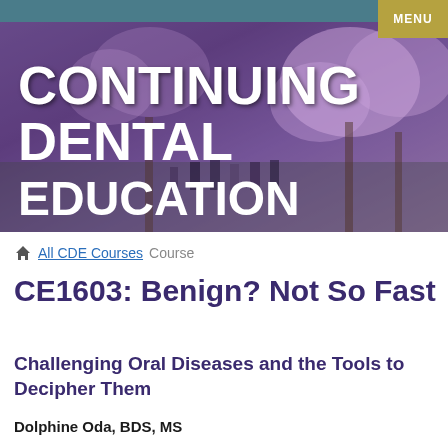[Figure (photo): Continuing Dental Education banner with cherry blossom trees and people walking on a campus, overlaid with large white bold text reading CONTINUING DENTAL EDUCATION]
MENU
All CDE Courses  Course
CE1603: Benign? Not So Fast
Challenging Oral Diseases and the Tools to Decipher Them
Dolphine Oda, BDS, MS